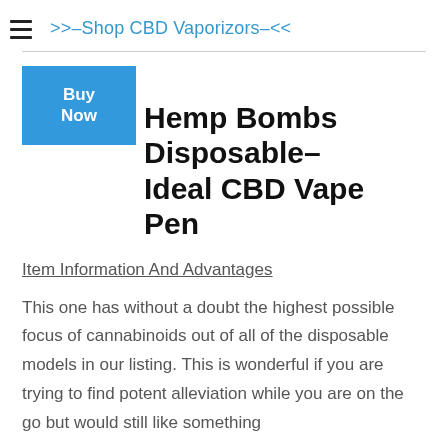>>–Shop CBD Vaporizors–<<
[Figure (other): Buy Now button (blue rectangle)]
Hemp Bombs Disposable–Ideal CBD Vape Pen
Item Information And Advantages
This one has without a doubt the highest possible focus of cannabinoids out of all of the disposable models in our listing. This is wonderful if you are trying to find potent alleviation while you are on the go but would still like something